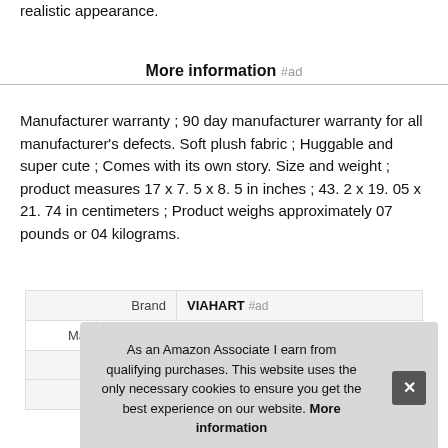realistic appearance.
More information #ad
Manufacturer warranty ; 90 day manufacturer warranty for all manufacturer's defects. Soft plush fabric ; Huggable and super cute ; Comes with its own story. Size and weight ; product measures 17 x 7. 5 x 8. 5 in inches ; 43. 2 x 19. 05 x 21. 74 in centimeters ; Product weighs approximately 07 pounds or 04 kilograms.
| Brand | VIAHART #ad |
| --- | --- |
| Ma |  |
|  |  |
| Width | 7.5 Inches |
As an Amazon Associate I earn from qualifying purchases. This website uses the only necessary cookies to ensure you get the best experience on our website. More information